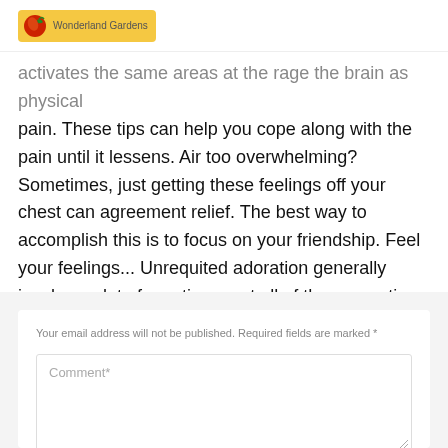Wonderland Gardens
activates the same areas at the rage the brain as physical pain. These tips can help you cope along with the pain until it lessens. Air too overwhelming? Sometimes, just getting these feelings off your chest can agreement relief. The best way to accomplish this is to focus on your friendship. Feel your feelings... Unrequited adoration generally involves a lot of emotions, not all of them negative. Aim practicing mindful acceptance of all of these feelings.
Your email address will not be published. Required fields are marked *
Comment*
Name *